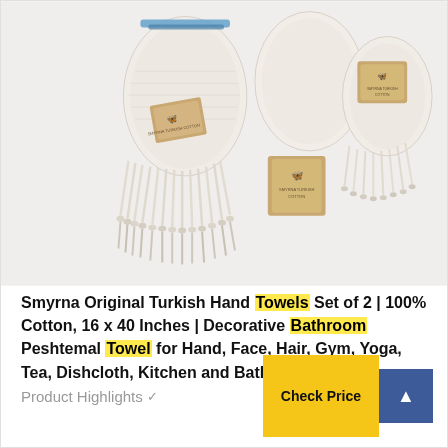[Figure (photo): Product photo of Smyrna Original Turkish Hand Towels showing three rolled cream/white cotton towels with tasseled fringe ends and branded kraft paper tags/boxes with butterfly logo]
Smyrna Original Turkish Hand Towels Set of 2 | 100% Cotton, 16 x 40 Inches | Decorative Bathroom Peshtemal Towel for Hand, Face, Hair, Gym, Yoga, Tea, Dishcloth, Kitchen and Bath (Blue)
Product Highlights
Check Price